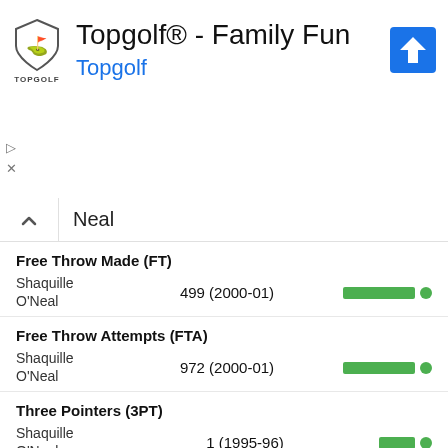[Figure (logo): Topgolf shield logo with text TOPGOLF]
Topgolf® - Family Fun
Topgolf
Neal
Free Throw Made (FT)
Shaquille O'Neal — 499 (2000-01)
Free Throw Attempts (FTA)
Shaquille O'Neal — 972 (2000-01)
Three Pointers (3PT)
Shaquille O'Neal — 1 (1995-96)